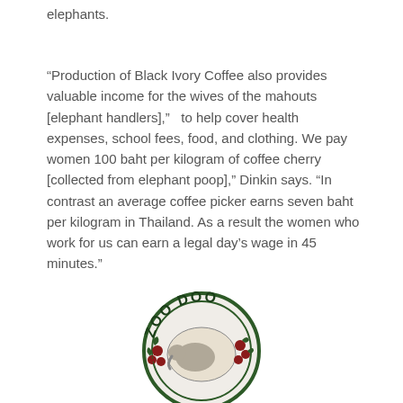elephants.
“Production of Black Ivory Coffee also provides valuable income for the wives of the mahouts [elephant handlers],”   to help cover health expenses, school fees, food, and clothing. We pay women 100 baht per kilogram of coffee cherry [collected from elephant poop],” Dinkin says. “In contrast an average coffee picker earns seven baht per kilogram in Thailand. As a result the women who work for us can earn a legal day’s wage in 45 minutes.”
[Figure (logo): Circular logo with text 'ZOO DOO' and an illustration of animals and coffee cherries in the center]